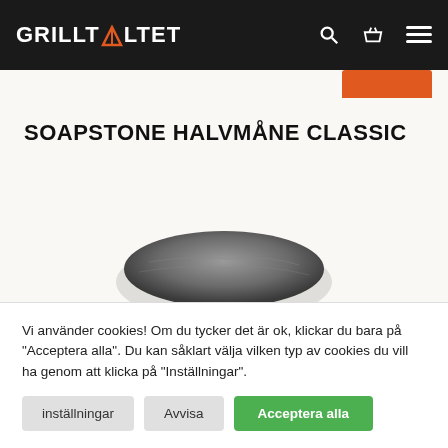GRILLTALTET
SOAPSTONE HALVMÅNE CLASSIC
[Figure (photo): Partial view of a dark soapstone halvmåne (halfmoon) product, stone shape visible at the bottom of the content area]
Vi använder cookies! Om du tycker det är ok, klickar du bara på "Acceptera alla". Du kan såklart välja vilken typ av cookies du vill ha genom att klicka på "Inställningar".
inställningar  Avvisa  Acceptera alla